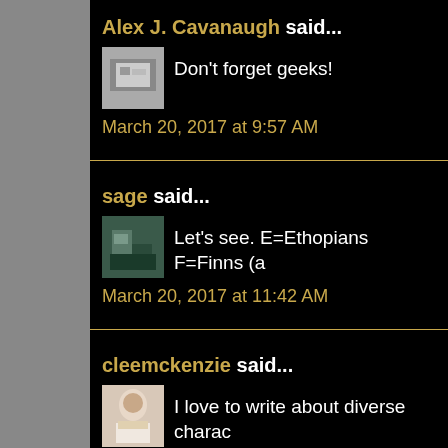Alex J. Cavanaugh said...
[Figure (photo): Avatar photo of Alex J. Cavanaugh - grayscale image]
Don't forget geeks!
March 20, 2017 at 9:57 AM
sage said...
[Figure (photo): Avatar photo of sage - person sitting]
Let's see. E=Ethopians F=Finns (a
March 20, 2017 at 11:42 AM
cleemckenzie said...
[Figure (photo): Avatar photo of cleemckenzie - woman]
I love to write about diverse charac white, female POV, my socio-econo